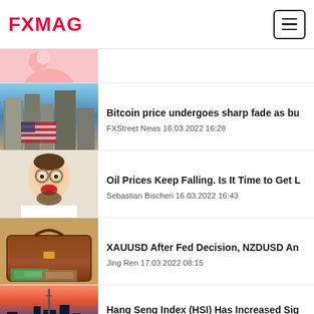FXMAG
[Figure (photo): Piggy bank on pink background (partially visible)]
[Figure (photo): Looking up at skyscrapers with American flag]
Bitcoin price undergoes sharp fade as bu
FXStreet News 16.03.2022 16:28
[Figure (photo): Man with glasses looking surprised]
Oil Prices Keep Falling. Is It Time to Get L
Sebastian Bischeri 16.03.2022 16:43
[Figure (photo): Briefcase with euro banknotes]
XAUUSD After Fed Decision, NZDUSD An
Jing Ren 17.03.2022 08:15
[Figure (photo): City skyline at sunset with tower]
Hang Seng Index (HSI) Has Increased Sig
Chris Vermeulen 17.03.2022 13:08